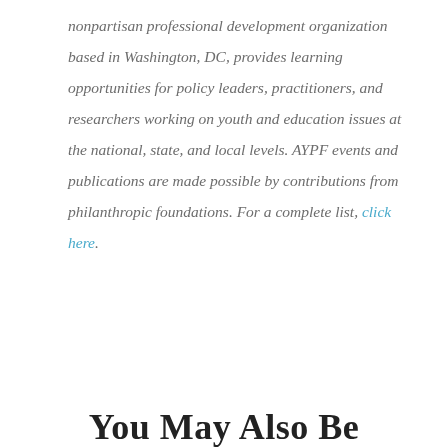nonpartisan professional development organization based in Washington, DC, provides learning opportunities for policy leaders, practitioners, and researchers working on youth and education issues at the national, state, and local levels. AYPF events and publications are made possible by contributions from philanthropic foundations. For a complete list, click here.
You May Also Be